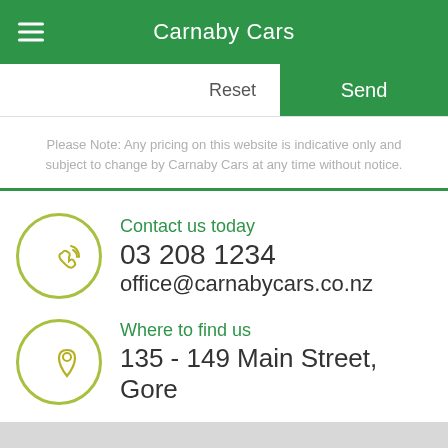Carnaby Cars
Please Note: Any pricing on this website is indicative only and subject to change by Carnaby Cars at any time without notice.
Contact us today
03 208 1234
office@carnabycars.co.nz
Where to find us
135 - 149 Main Street, Gore